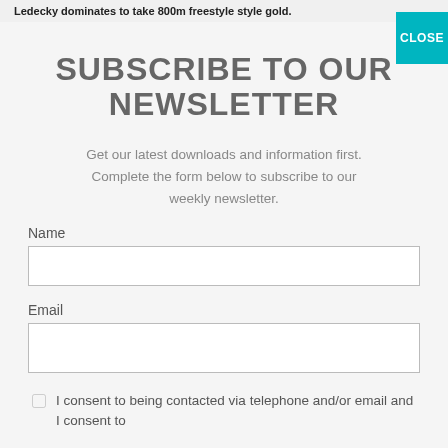Ledecky dominates to take 800m freestyle gold.
SUBSCRIBE TO OUR NEWSLETTER
Get our latest downloads and information first. Complete the form below to subscribe to our weekly newsletter.
Name
Email
I consent to being contacted via telephone and/or email and I consent to